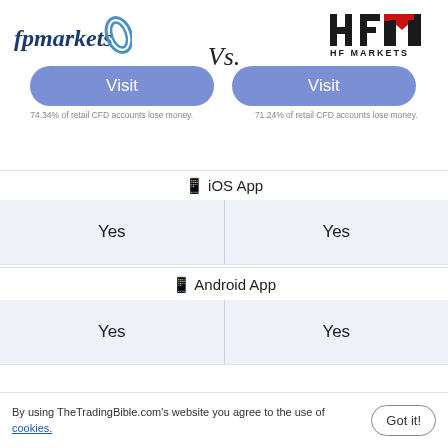[Figure (logo): fpmarkets logo with swoosh icon on the left side]
[Figure (logo): HFM HF MARKETS logo on the right side]
Vs.
Visit
Visit
74.34% of retail CFD accounts lose money.
71.24% of retail CFD accounts lose money.
| iOS App |  |  |
| --- | --- | --- |
| Yes |  | Yes |
| Android App |  |  |
| --- | --- | --- |
| Yes |  | Yes |
By using TheTradingBible.com's website you agree to the use of cookies.